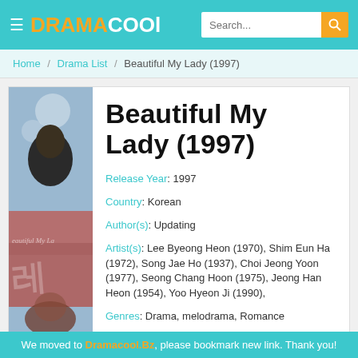DRAMACOOL — Search bar navigation
Home / Drama List / Beautiful My Lady (1997)
Beautiful My Lady (1997)
Release Year: 1997
Country: Korean
Author(s): Updating
Artist(s): Lee Byeong Heon (1970), Shim Eun Ha (1972), Song Jae Ho (1937), Choi Jeong Yoon (1977), Seong Chang Hoon (1975), Jeong Han Heon (1954), Yoo Hyeon Ji (1990),
Genres: Drama, melodrama, Romance
Status: TV Series
Views: 1
We moved to Dramacool.Bz, please bookmark new link. Thank you!